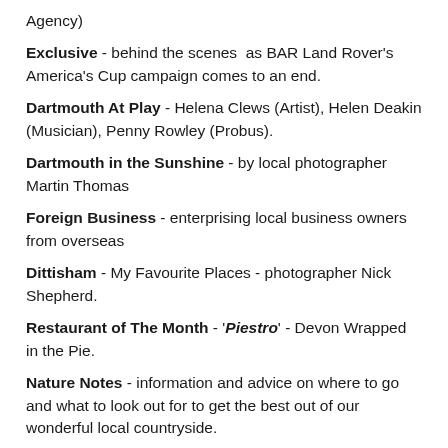Agency)
Exclusive - behind the scenes as BAR Land Rover's America's Cup campaign comes to an end.
Dartmouth At Play - Helena Clews (Artist), Helen Deakin (Musician), Penny Rowley (Probus).
Dartmouth in the Sunshine - by local photographer Martin Thomas
Foreign Business - enterprising local business owners from overseas
Dittisham - My Favourite Places - photographer Nick Shepherd.
Restaurant of The Month - 'Piestro' - Devon Wrapped in the Pie.
Nature Notes - information and advice on where to go and what to look out for to get the best out of our wonderful local countryside.